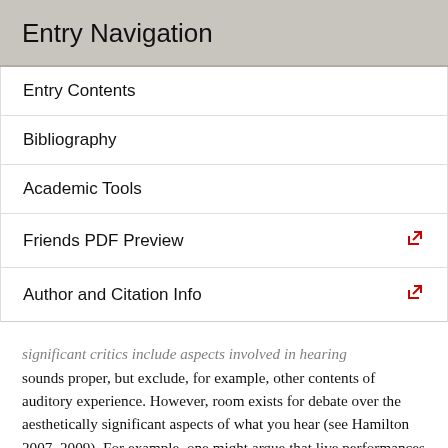Entry Navigation
Entry Contents
Bibliography
Academic Tools
Friends PDF Preview
Author and Citation Info
significant critics include aspects involved in hearing sounds proper, but exclude, for example, other contents of auditory experience. However, room exists for debate over the aesthetically significant aspects of what you hear (see Hamilton 2007, 2009). For example, one might argue that live performances have aesthetic advantages over recordings because one hears the performance of the sounds and songs, rather than their reproduction by loudspeakers (cf. Mag Uidhir 2007). Circumstances of sound production, such as that skillful gestures generate a certain passage, or that a particularly rare wood accounts for a violin's sounds, might be aesthetically relevant in a